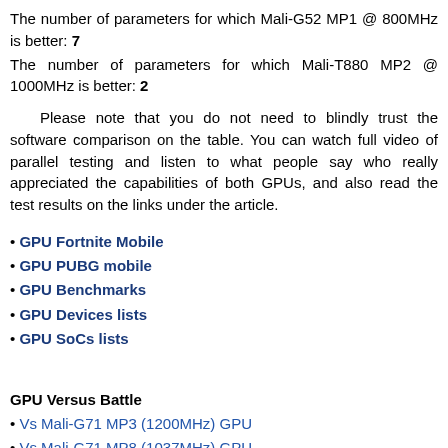The number of parameters for which Mali-G52 MP1 @ 800MHz is better: 7
The number of parameters for which Mali-T880 MP2 @ 1000MHz is better: 2
Please note that you do not need to blindly trust the software comparison on the table. You can watch full video of parallel testing and listen to what people say who really appreciated the capabilities of both GPUs, and also read the test results on the links under the article.
GPU Fortnite Mobile
GPU PUBG mobile
GPU Benchmarks
GPU Devices lists
GPU SoCs lists
GPU Versus Battle
Vs Mali-G71 MP3 (1200MHz) GPU
Vs Mali-G71 MP8 (1037MHz) GPU
Vs Mali-T880 MP4 (875MHz) GPU